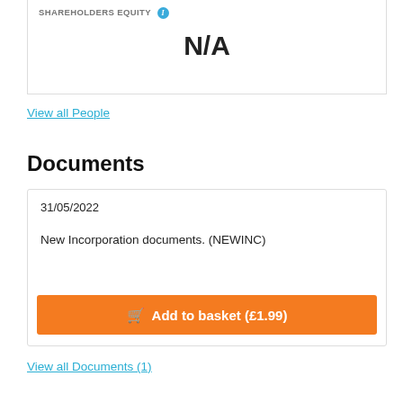SHAREHOLDERS EQUITY
N/A
View all People
Documents
31/05/2022
New Incorporation documents. (NEWINC)
Add to basket (£1.99)
View all Documents (1)